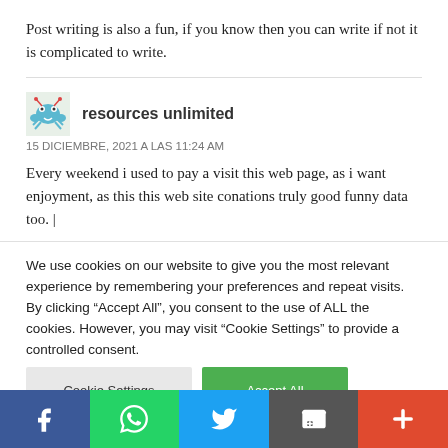Post writing is also a fun, if you know then you can write if not it is complicated to write.
resources unlimited
15 DICIEMBRE, 2021 A LAS 11:24 AM

Every weekend i used to pay a visit this web page, as i want enjoyment, as this this web site conations truly good funny data too. |
We use cookies on our website to give you the most relevant experience by remembering your preferences and repeat visits. By clicking “Accept All”, you consent to the use of ALL the cookies. However, you may visit "Cookie Settings" to provide a controlled consent.
[Figure (other): Social share bar with Facebook, WhatsApp, Twitter, Email, and plus buttons]